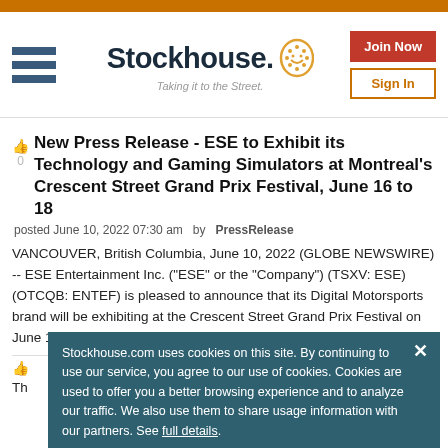[Figure (logo): Stockhouse logo with hamburger menu, tagline 'Taking it to the Street.', Join Now button, and Sign In button]
New Press Release - ESE to Exhibit its Technology and Gaming Simulators at Montreal's Crescent Street Grand Prix Festival, June 16 to 18
posted June 10, 2022 07:30 am  by  PressRelease
VANCOUVER, British Columbia, June 10, 2022 (GLOBE NEWSWIRE) -- ESE Entertainment Inc. ("ESE" or the "Company") (TSXV: ESE) (OTCQB: ENTEF) is pleased to announce that its Digital Motorsports brand will be exhibiting at the Crescent Street Grand Prix Festival on June 16 to 18, 2022, during the...read more
Stockhouse.com uses cookies on this site. By continuing to use our service, you agree to our use of cookies. Cookies are used to offer you a better browsing experience and to analyze our traffic. We also use them to share usage information with our partners. See full details.
I Agree